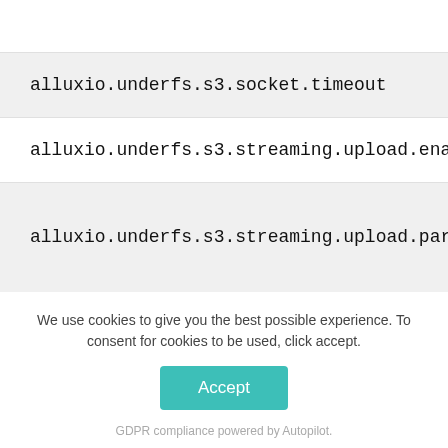alluxio.underfs.s3.socket.timeout
alluxio.underfs.s3.streaming.upload.enabled
alluxio.underfs.s3.streaming.upload.partition.size
We use cookies to give you the best possible experience. To consent for cookies to be used, click accept.
Accept
GDPR compliance powered by Autopilot.